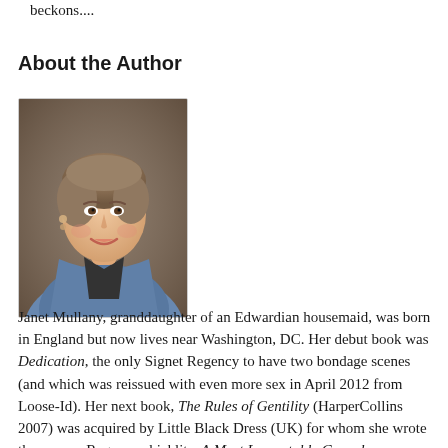beckons....
About the Author
[Figure (photo): Portrait photo of Janet Mullany, a woman with short brown/grey hair, smiling, wearing a denim jacket, photographed against a dark brown background.]
Janet Mullany, granddaughter of an Edwardian housemaid, was born in England but now lives near Washington, DC. Her debut book was Dedication, the only Signet Regency to have two bondage scenes (and which was reissued with even more sex in April 2012 from Loose-Id). Her next book, The Rules of Gentility (HarperCollins 2007) was acquired by Little Black Dress (UK) for whom she wrote three more Regency chicklits, A Most Lamentable Comedy, Improper Relations, and Mr. Bishop and the Actress. Her career as a writer who does terrible